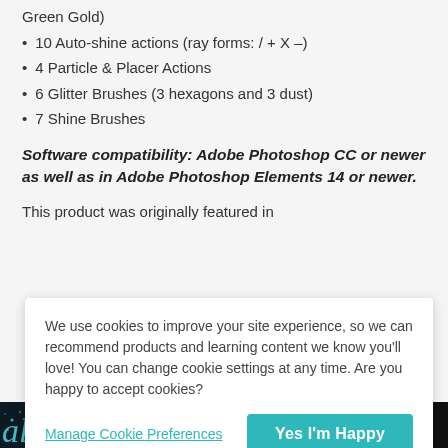Green Gold)
10 Auto-shine actions (ray forms: / + X –)
4 Particle & Placer Actions
6 Glitter Brushes (3 hexagons and 3 dust)
7 Shine Brushes
Software compatibility: Adobe Photoshop CC or newer as well as in Adobe Photoshop Elements 14 or newer.
This product was originally featured in
We use cookies to improve your site experience, so we can recommend products and learning content we know you'll love! You can change cookie settings at any time. Are you happy to accept cookies?
Manage Cookie Preferences
Yes I'm Happy
[Figure (photo): Dark background image with cyan glitter text and '16 HEXAGON GLITTER STYLES' text label]